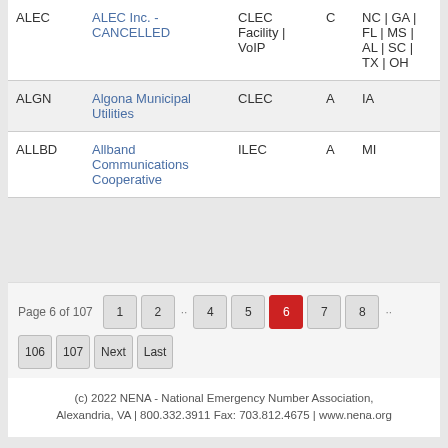| Code | Name | Type | Status | State |
| --- | --- | --- | --- | --- |
| ALEC | ALEC Inc. - CANCELLED | CLEC Facility | VoIP | C | NC | GA | FL | MS | AL | SC | TX | OH |
| ALGN | Algona Municipal Utilities | CLEC | A | IA |
| ALLBD | Allband Communications Cooperative | ILEC | A | MI |
Page 6 of 107  1  2  ...  4  5  6  7  8  ...  106  107  Next  Last
(c) 2022 NENA - National Emergency Number Association, Alexandria, VA | 800.332.3911 Fax: 703.812.4675 | www.nena.org